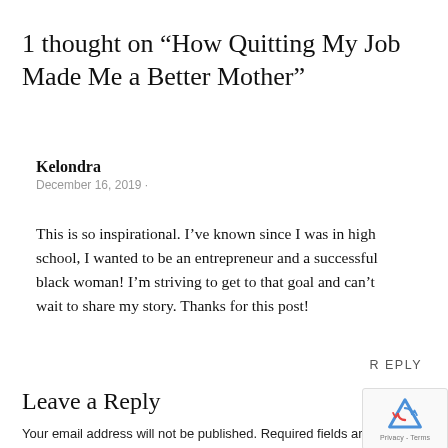1 thought on “How Quitting My Job Made Me a Better Mother”
Kelondra
December 16, 2019 ·
This is so inspirational. I’ve known since I was in high school, I wanted to be an entrepreneur and a successful black woman! I’m striving to get to that goal and can’t wait to share my story. Thanks for this post!
REPLY
Leave a Reply
Your email address will not be published. Required fields are marked *